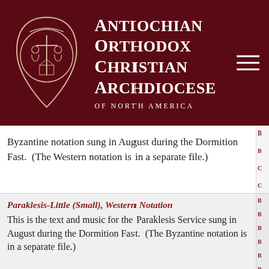Antiochian Orthodox Christian Archdiocese of North America
Byzantine notation sung in August during the Dormition Fast.  (The Western notation is in a separate file.)
Paraklesis-Little (Small), Western Notation
This is the text and music for the Paraklesis Service sung in August during the Dormition Fast.  (The Byzantine notation is in a separate file.)